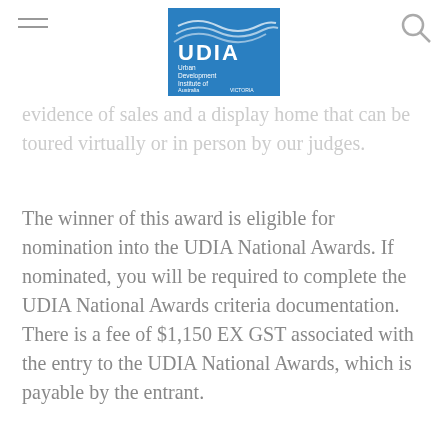UDIA Victoria logo header with hamburger menu and search icon
evidence of sales and a display home that can be toured virtually or in person by our judges.
The winner of this award is eligible for nomination into the UDIA National Awards. If nominated, you will be required to complete the UDIA National Awards criteria documentation.  There is a fee of $1,150 EX GST associated with the entry to the UDIA National Awards, which is payable by the entrant.